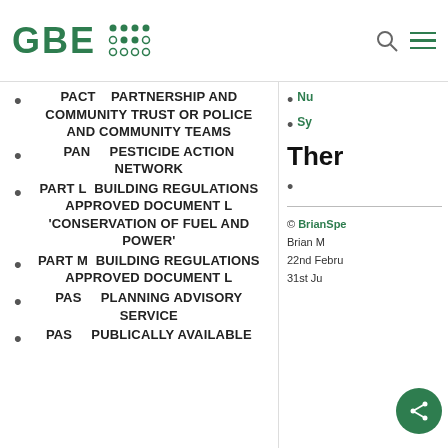GBE
PACT    PARTNERSHIP AND COMMUNITY TRUST OR POLICE AND COMMUNITY TEAMS
PAN    PESTICIDE ACTION NETWORK
PART L  BUILDING REGULATIONS APPROVED DOCUMENT L 'CONSERVATION OF FUEL AND POWER'
PART M  BUILDING REGULATIONS APPROVED DOCUMENT L
PAS    PLANNING ADVISORY SERVICE
PAS    PUBLICALLY AVAILABLE
Ther
© BrianSpe
Brian M
22nd Febru
31st Ju